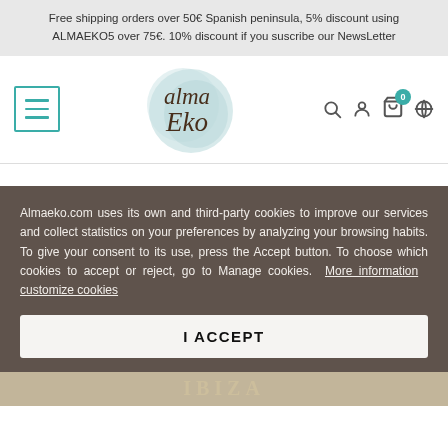Free shipping orders over 50€ Spanish peninsula, 5% discount using ALMAEKO5 over 75€. 10% discount if you suscribe our NewsLetter
[Figure (logo): Alma Eko logo with watercolor globe and handwritten text 'alma Eko']
Almaeko.com uses its own and third-party cookies to improve our services and collect statistics on your preferences by analyzing your browsing habits. To give your consent to its use, press the Accept button. To choose which cookies to accept or reject, go to Manage cookies. More information  customize cookies
I ACCEPT